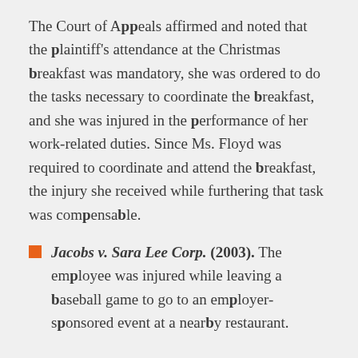The Court of Appeals affirmed and noted that the plaintiff's attendance at the Christmas breakfast was mandatory, she was ordered to do the tasks necessary to coordinate the breakfast, and she was injured in the performance of her work-related duties. Since Ms. Floyd was required to coordinate and attend the breakfast, the injury she received while furthering that task was compensable.
Jacobs v. Sara Lee Corp. (2003). The employee was injured while leaving a baseball game to go to an employer-sponsored event at a nearby restaurant.